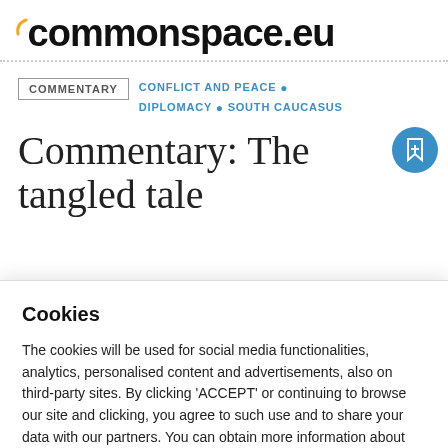commonspace.eu
COMMENTARY  CONFLICT AND PEACE • DIPLOMACY • SOUTH CAUCASUS
Commentary: The tangled tale
Cookies
The cookies will be used for social media functionalities, analytics, personalised content and advertisements, also on third-party sites. By clicking 'ACCEPT' or continuing to browse our site and clicking, you agree to such use and to share your data with our partners. You can obtain more information about our use of cookies, our partners and your consent via the 'Cookie settings'.
Cookie settings  Accept